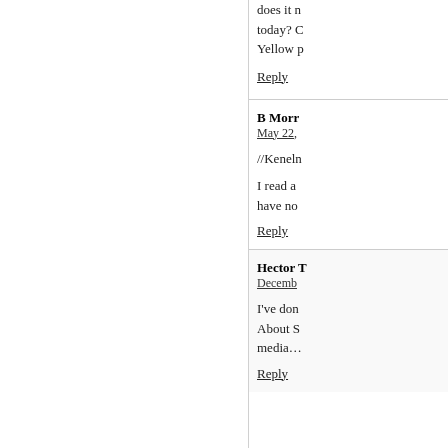does it n today? C Yellow p
Reply
B Morr
May 22,
//Kenelm
I read a have no
Reply
Hector T
Decemb
I've don About S media…
Reply